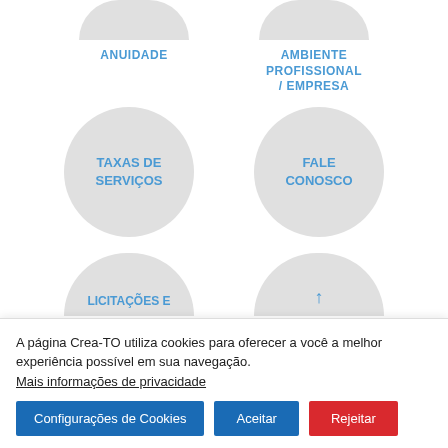[Figure (infographic): Navigation menu circles: ANUIDADE, AMBIENTE PROFISSIONAL / EMPRESA, TAXAS DE SERVIÇOS, FALE CONOSCO, LICITAÇÕES E (partially visible), and another partially visible circle]
A página Crea-TO utiliza cookies para oferecer a você a melhor experiência possível em sua navegação. Mais informações de privacidade
Configurações de Cookies
Aceitar
Rejeitar